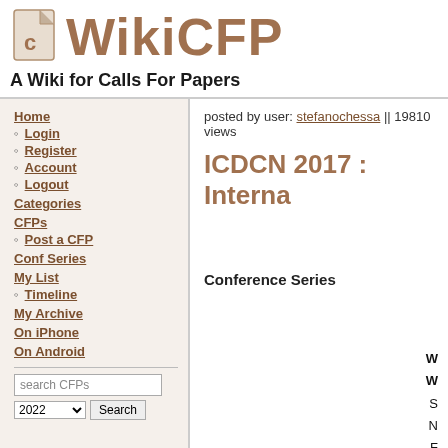[Figure (logo): WikiCFP logo with document icon and text]
A Wiki for Calls For Papers
Home
Login
Register
Account
Logout
Categories
CFPs
Post a CFP
Conf Series
My List
Timeline
My Archive
On iPhone
On Android
posted by user: stefanochessa || 19810 views
ICDCN 2017 : Interna
Conference Series
W
W
S
N
F